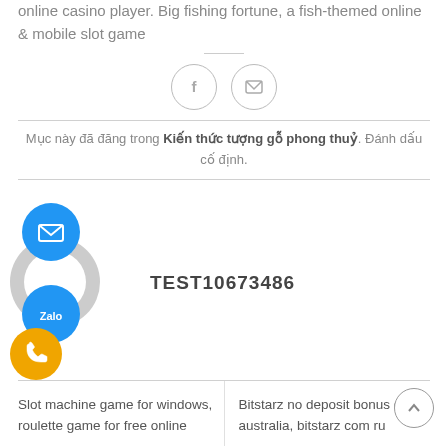online casino player. Big fishing fortune, a fish-themed online & mobile slot game
[Figure (illustration): Two circular social sharing icons: Facebook (f) and email/envelope, outlined in gray on white background]
Mục này đã đăng trong Kiến thức tượng gỗ phong thuỷ. Đánh dấu cố định.
[Figure (illustration): Email icon (blue circle with envelope), gray avatar/person ring icon, and Zalo icon (blue circle with Zalo logo) stacked on the left side. Text TEST10673486 to the right.]
TEST10673486
Slot machine game for windows, roulette game for free online
Bitstarz no deposit bonus code australia, bitstarz com ru
[Figure (illustration): Orange phone/call floating button bottom left]
[Figure (illustration): Scroll to top circular button with up arrow, bottom right]